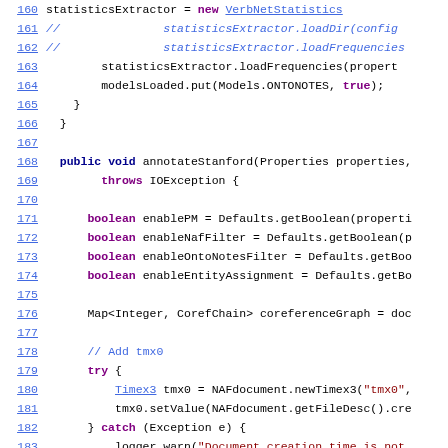[Figure (screenshot): Source code listing (Java) showing lines 160-192, with syntax highlighting. Line numbers in blue on left, keywords in purple/bold, strings in dark red, comments in blue italic, hyperlinks underlined in blue.]